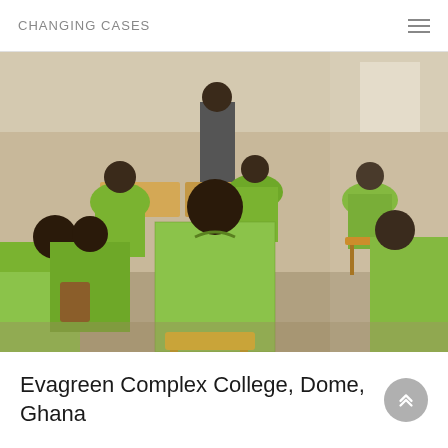CHANGING CASES
[Figure (photo): Classroom scene with school children wearing green checkered uniforms seated on wooden chairs, viewed from behind, with a teacher standing at the front near a desk. The room has white walls and natural light coming from a window.]
Evagreen Complex College, Dome, Ghana